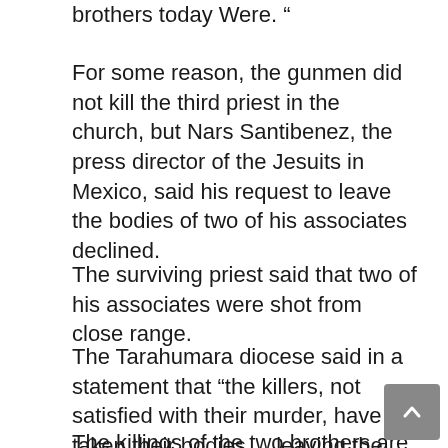brothers today Were. “
For some reason, the gunmen did not kill the third priest in the church, but Nars Santibenez, the press director of the Jesuits in Mexico, said his request to leave the bodies of two of his associates declined.
The surviving priest said that two of his associates were shot from close range.
The Tarahumara diocese said in a statement that “the killers, not satisfied with their murder, have taken their bodies ... leaving the pain, sadness and resentment among all of us who wish to mourn them.”
The killings of the two brothers are from recent